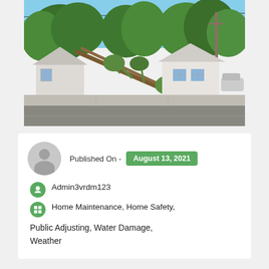[Figure (photo): Street view photograph showing a fallen tree leaning against a house on the left side, with another white house visible on the right, trees in the background, a sidewalk and road in the foreground, taken on a sunny day.]
Published On - August 13, 2021
Admin3vrdm123
Home Maintenance, Home Safety, Public Adjusting, Water Damage, Weather